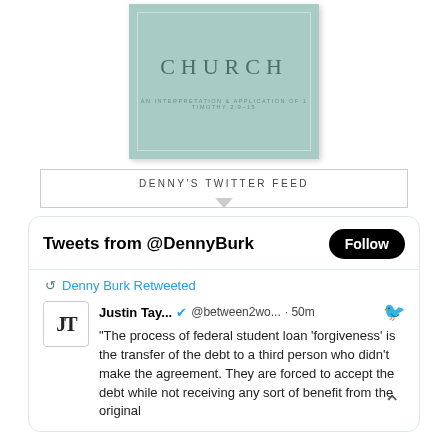[Figure (illustration): Book cover with teal/mint green background showing the word CHURCH in large spaced serif letters, with subtitle text AN INTERPRETATION & APPLICATION OF 1 TIMOTHY 2:9-15]
DENNY'S TWITTER FEED
[Figure (screenshot): Twitter widget showing Tweets from @DennyBurk with a Follow button, a retweet by Denny Burk of Justin Taylor @between2wo... posted 50m ago. Tweet text: 'The process of federal student loan 'forgiveness' is the transfer of the debt to a third person who didn't make the agreement. They are forced to accept the debt while not receiving any sort of benefit from the original']